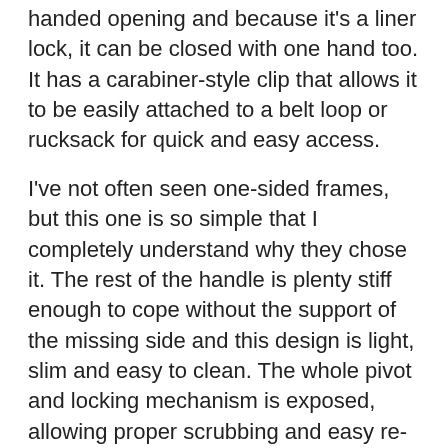handed opening and because it's a liner lock, it can be closed with one hand too. It has a carabiner-style clip that allows it to be easily attached to a belt loop or rucksack for quick and easy access.
I've not often seen one-sided frames, but this one is so simple that I completely understand why they chose it. The rest of the handle is plenty stiff enough to cope without the support of the missing side and this design is light, slim and easy to clean. The whole pivot and locking mechanism is exposed, allowing proper scrubbing and easy re-lubrication. There's no chance of dirt, blood and animal tissue building up in this knife.
The blade is a rather shallow drop-point with a short false edge on the spine, again made from 440 stainless and given a fashionable black coating. This